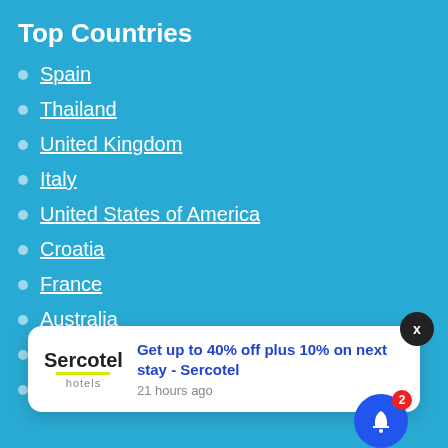Top Countries
Spain
Thailand
United Kingdom
Italy
United States of America
Croatia
France
Australia
Dominican Republic
Indonesia
[Figure (screenshot): Sercotel hotels push notification popup: 'Get up to 40% off plus 10% on next stay - Sercotel', 21 hours ago. With X close button and blue bell notification icon with badge 2.]